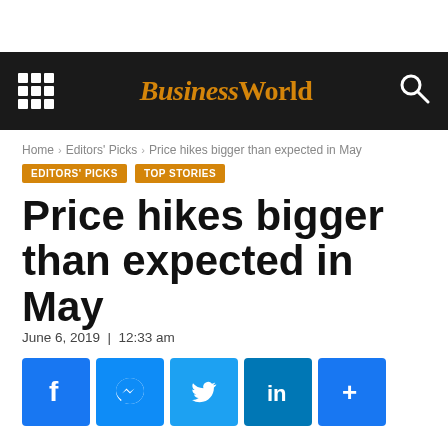BusinessWorld
Home › Editors' Picks › Price hikes bigger than expected in May
EDITORS' PICKS   TOP STORIES
Price hikes bigger than expected in May
June 6, 2019  |  12:33 am
[Figure (other): Social share buttons: Facebook, Messenger, Twitter, LinkedIn, More]